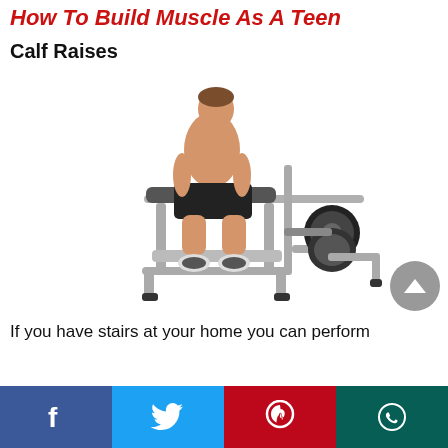How To Build Muscle As A Teen
Calf Raises
[Figure (photo): A muscular man seated on a calf raise machine with weight plates, performing seated calf raises at a gym.]
If you have stairs at your home you can perform
Facebook | Twitter | Pinterest | WhatsApp